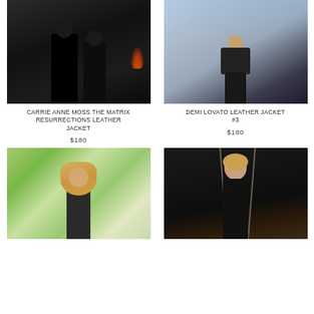[Figure (photo): Two actors in dark leather jackets standing dramatically, moody dark background with warm light behind them - Matrix Resurrections]
[Figure (photo): Female performer in black leather jacket and ruffled black dress on a lit stage, walking forward]
CARRIE ANNE MOSS THE MATRIX RESURRECTIONS LEATHER JACKET
$180
DEMI LOVATO LEATHER JACKET #3
$180
[Figure (photo): Blonde young woman with long straight hair outdoors in natural light, wearing dark jacket]
[Figure (photo): Woman in black leather jacket at night event, dark background with rope/cord visible]